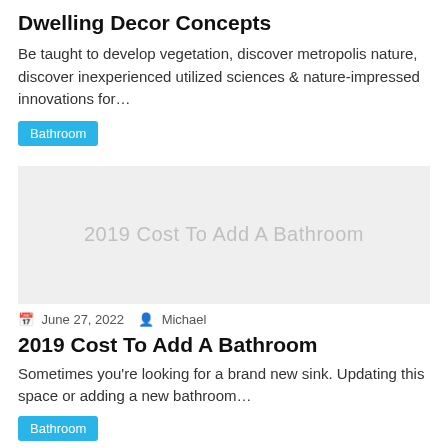Dwelling Decor Concepts
Be taught to develop vegetation, discover metropolis nature, discover inexperienced utilized sciences & nature-impressed innovations for…
Bathroom
[Figure (photo): Placeholder image with text '2019 Cost To Add A Bathroom' on grey background]
June 27, 2022   Michael
2019 Cost To Add A Bathroom
Sometimes you're looking for a brand new sink. Updating this space or adding a new bathroom…
Bathroom